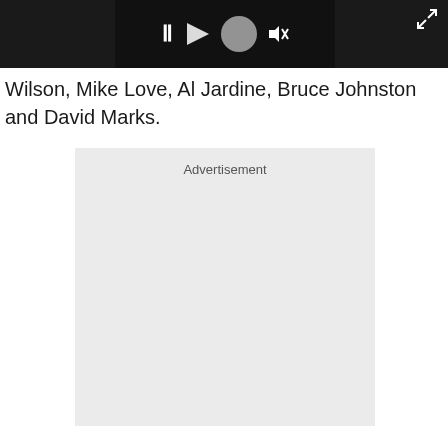[Figure (screenshot): Video player control bar with dark background showing pause button, circular icon, and volume/mute controls. Expand icon in top right corner.]
Wilson, Mike Love, Al Jardine, Bruce Johnston and David Marks.
[Figure (other): Advertisement placeholder block with light gray background and 'Advertisement' label at top center.]